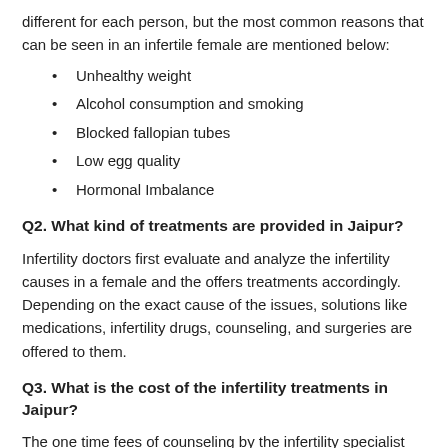different for each person, but the most common reasons that can be seen in an infertile female are mentioned below:
Unhealthy weight
Alcohol consumption and smoking
Blocked fallopian tubes
Low egg quality
Hormonal Imbalance
Q2. What kind of treatments are provided in Jaipur?
Infertility doctors first evaluate and analyze the infertility causes in a female and the offers treatments accordingly. Depending on the exact cause of the issues, solutions like medications, infertility drugs, counseling, and surgeries are offered to them.
Q3. What is the cost of the infertility treatments in Jaipur?
The one time fees of counseling by the infertility specialist range